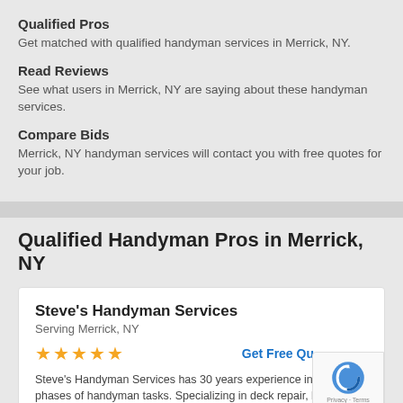Qualified Pros
Get matched with qualified handyman services in Merrick, NY.
Read Reviews
See what users in Merrick, NY are saying about these handyman services.
Compare Bids
Merrick, NY handyman services will contact you with free quotes for your job.
Qualified Handyman Pros in Merrick, NY
Steve's Handyman Services
Serving Merrick, NY
★★★★★
Get Free Qu...
Steve's Handyman Services has 30 years experience in all phases of handyman tasks. Specializing in deck repair, but...